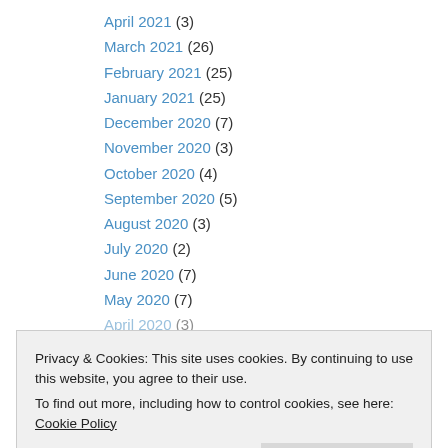April 2021 (3)
March 2021 (26)
February 2021 (25)
January 2021 (25)
December 2020 (7)
November 2020 (3)
October 2020 (4)
September 2020 (5)
August 2020 (3)
July 2020 (2)
June 2020 (7)
May 2020 (7)
April 2020 (3)
Privacy & Cookies: This site uses cookies. By continuing to use this website, you agree to their use.
To find out more, including how to control cookies, see here: Cookie Policy
October 2019 (6)